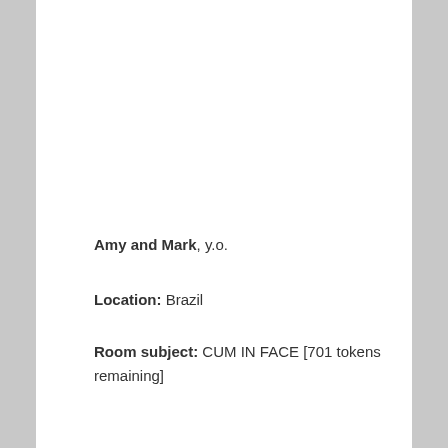Amy and Mark, y.o.
Location: Brazil
Room subject: CUM IN FACE [701 tokens remaining]